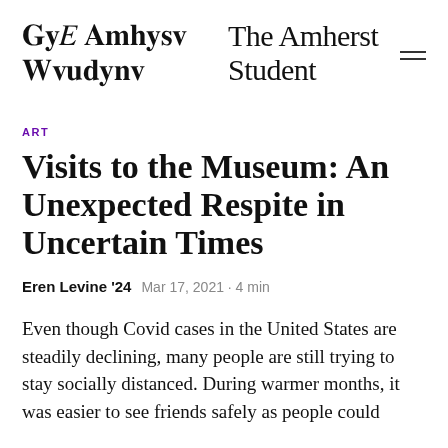The Amherst Student
ART
Visits to the Museum: An Unexpected Respite in Uncertain Times
Eren Levine '24   Mar 17, 2021 · 4 min
Even though Covid cases in the United States are steadily declining, many people are still trying to stay socially distanced. During warmer months, it was easier to see friends safely as people could